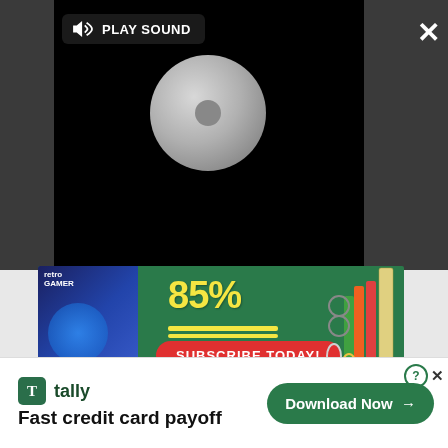[Figure (screenshot): Video player with black background, loading spinner circle, and 'PLAY SOUND' button overlay]
[Figure (screenshot): Green advertisement banner for Retro Gamer magazine showing '85%' in yellow text with 'SUBSCRIBE TODAY!' red button, magazine cover on left, school supplies on right]
[Figure (screenshot): Tally app advertisement banner at bottom with 'Fast credit card payoff' tagline and 'Download Now' button]